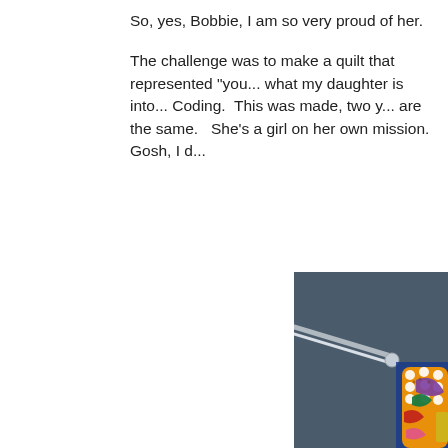So, yes, Bobbie, I am so very proud of her.
The challenge was to make a quilt that represented "you... what my daughter is into... Coding.  This was made, two y... are the same.   She's a girl on her own mission.  Gosh, I d...
[Figure (photo): A colorful quilt with orange background featuring white polka dots and colorful floral/circular applique pattern in purple, green, red, pink, and yellow, hanging on a metal rod against a dark blue-gray fabric background.]